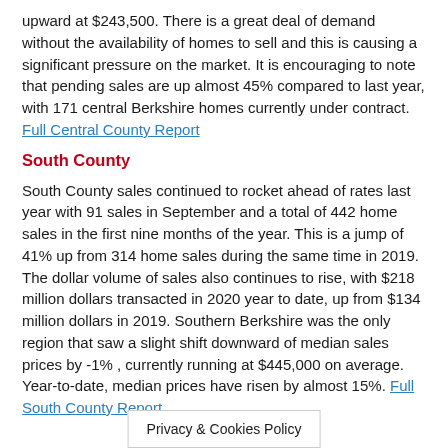upward at $243,500. There is a great deal of demand without the availability of homes to sell and this is causing a significant pressure on the market. It is encouraging to note that pending sales are up almost 45% compared to last year, with 171 central Berkshire homes currently under contract. Full Central County Report
South County
South County sales continued to rocket ahead of rates last year with 91 sales in September and a total of 442 home sales in the first nine months of the year. This is a jump of 41% up from 314 home sales during the same time in 2019. The dollar volume of sales also continues to rise, with $218 million dollars transacted in 2020 year to date, up from $134 million dollars in 2019. Southern Berkshire was the only region that saw a slight shift downward of median sales prices by -1% , currently running at $445,000 on average. Year-to-date, median prices have risen by almost 15%. Full South County Report
Privacy & Cookies Policy